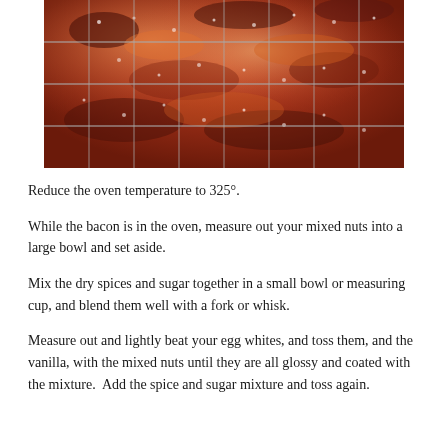[Figure (photo): Close-up photo of glazed candied bacon strips on a wire rack, glistening with a caramelized sugar coating, reddish-brown in color]
Reduce the oven temperature to 325°.
While the bacon is in the oven, measure out your mixed nuts into a large bowl and set aside.
Mix the dry spices and sugar together in a small bowl or measuring cup, and blend them well with a fork or whisk.
Measure out and lightly beat your egg whites, and toss them, and the vanilla, with the mixed nuts until they are all glossy and coated with the mixture.  Add the spice and sugar mixture and toss again.